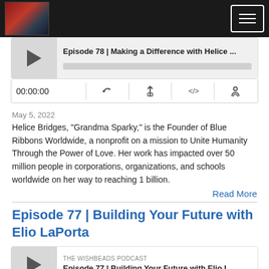Podcast website header with logo and menu button
[Figure (screenshot): Podcast audio player showing episode 'Episode 78 | Making a Difference with Helice ...' with play button, progress bar, time display 00:00:00 and playback controls]
May 5, 2022
Helice Bridges, “Grandma Sparky,” is the Founder of Blue Ribbons Worldwide, a nonprofit on a mission to Unite Humanity Through the Power of Love. Her work has impacted over 50 million people in corporations, organizations, and schools worldwide on her way to reaching 1 billion.
Read More
Episode 77 | Building Your Future with Elio LaPorta
[Figure (screenshot): Podcast audio player thumbnail for 'Episode 77 | Building Your Future with Elio L...' showing THE WISHBEADS PODCAST label]